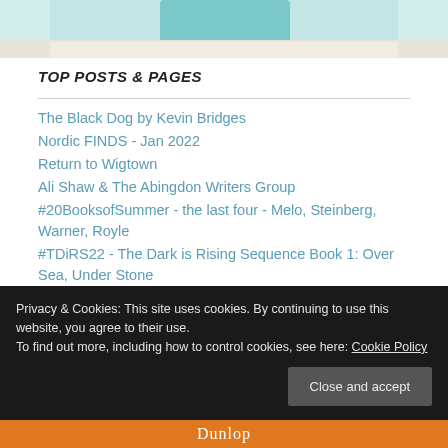[Figure (photo): Partial photo at top of page showing a teal/turquoise object on a light wooden surface]
TOP POSTS & PAGES
The Black Dog by Kevin Bridges
Nordic FINDS - Jan 2022
Return to Wigtown
Ali Shaw & The Abingdon Writers Group
#20BooksofSummer - the last four - Melo, Steinberg, Warner, Royle
#TDiRS22 - The Dark is Rising Sequence Book 1: Over Sea, Under Stone
The Mirror Visitor quartet - the final installment
Privacy & Cookies: This site uses cookies. By continuing to use this website, you agree to their use.
To find out more, including how to control cookies, see here: Cookie Policy
Close and accept
[Figure (logo): Dunlop orange banner at the bottom of the page]